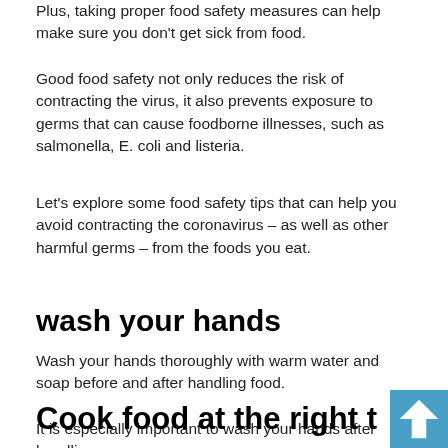Plus, taking proper food safety measures can help make sure you don't get sick from food.
Good food safety not only reduces the risk of contracting the virus, it also prevents exposure to germs that can cause foodborne illnesses, such as salmonella, E. coli and listeria.
Let's explore some food safety tips that can help you avoid contracting the coronavirus – as well as other harmful germs – from the foods you eat.
wash your hands
Wash your hands thoroughly with warm water and soap before and after handling food.
It is especially important to wash your hands after handling raw foods such as meat, poultry, and seafood.
Cook food at the right temperature